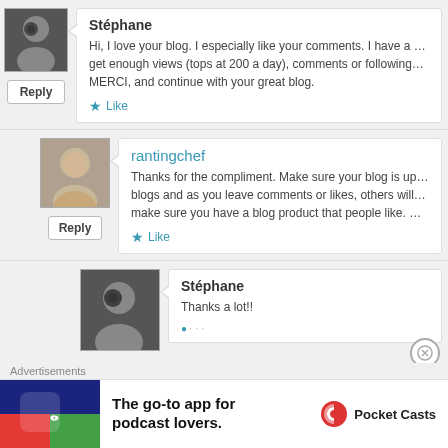Stéphane
Hi, I love your blog. I especially like your comments. I have a food b... get enough views (tops at 200 a day), comments or followings. Wha... MERCI, and continue with your great blog.
Like
rantingchef
Thanks for the compliment. Make sure your blog is updated reg... blogs and as you leave comments or likes, others will find you... make sure you have a blog product that people like. Good luck...
Like
Stéphane
Thanks a lot!!
Advertisements
The go-to app for podcast lovers.
Pocket Casts